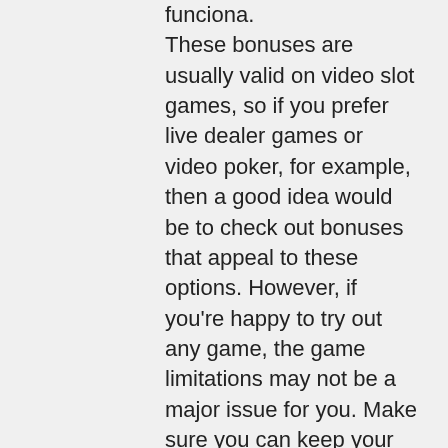funciona. These bonuses are usually valid on video slot games, so if you prefer live dealer games or video poker, for example, then a good idea would be to check out bonuses that appeal to these options. However, if you're happy to try out any game, the game limitations may not be a major issue for you. Make sure you can keep your wins When opting for a no deposit bonus, check that you can keep any wins associated with the bonus, real life casino slots. Free btc: panel destinado a obtener bitcoins gratuitos. Multiply btc: panel destinado a multiplicar nuestros bitcoins. Con qr code generator puedes crear códigos qr personalizados con logotipos, marcos y tus colores favoritos. Crea tu código qr como desees! Explicamos qué son, cómo funcionan y damos ejemplos de faucets de bitcoin y otras criptomonedas, una opción para conseguir algo de dinero fácil o